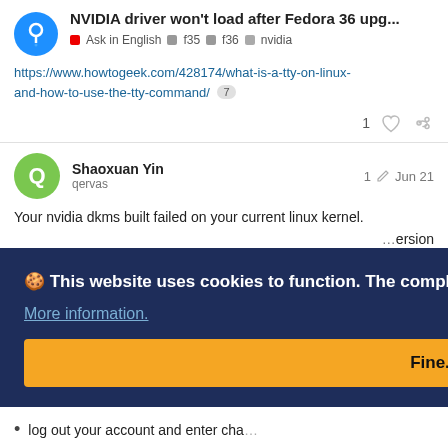NVIDIA driver won't load after Fedora 36 upg... | Ask in English | f35 | f36 | nvidia
https://www.howtogeek.com/428174/what-is-a-tty-on-linux-and-how-to-use-the-tty-command/ [7]
1 [like] [link]
Shaoxuan Yin  1 ✏  Jun 21
qervas
Your nvidia dkms built failed on your current linux kernel. ...ersion ...the ...dia- ...te my
🍪 This website uses cookies to function. The compliance people asked us to tell you.
More information.
Fine.
log out your account and enter cha...